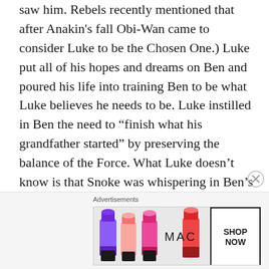saw him. Rebels recently mentioned that after Anakin's fall Obi-Wan came to consider Luke to be the Chosen One.) Luke put all of his hopes and dreams on Ben and poured his life into training Ben to be what Luke believes he needs to be. Luke instilled in Ben the need to “finish what his grandfather started” by preserving the balance of the Force. What Luke doesn’t know is that Snoke was whispering in Ben’s mind and warping his thinking.
[Figure (other): Advertisement banner showing MAC cosmetics lipsticks with SHOP NOW button]